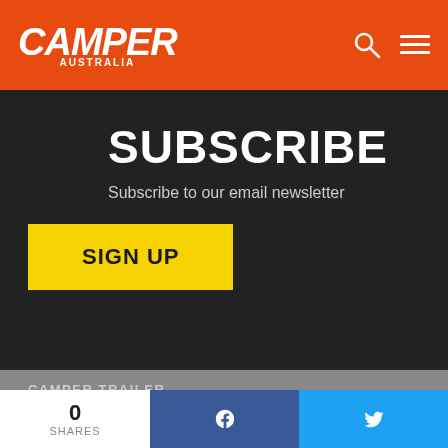CAMPER AUSTRALIA
SUBSCRIBE
Subscribe to our email newsletter
SIGN UP
CAMPER TRAILER
ABOUT US
0 SHARES